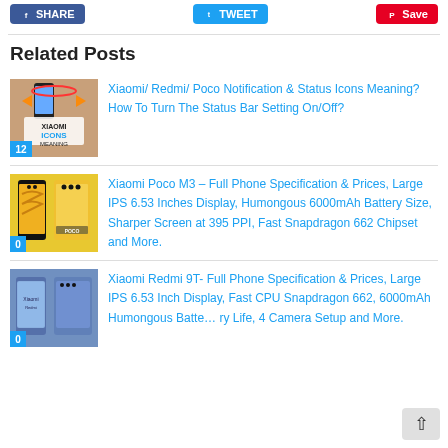Share | Tweet | Save
Related Posts
[Figure (photo): Xiaomi Icons Meaning phone graphic with number badge 12]
Xiaomi/ Redmi/ Poco Notification & Status Icons Meaning? How To Turn The Status Bar Setting On/Off?
[Figure (photo): Xiaomi Poco M3 phone in yellow/black with number badge 0]
Xiaomi Poco M3 – Full Phone Specification & Prices, Large IPS 6.53 Inches Display, Humongous 6000mAh Battery Size, Sharper Screen at 395 PPI, Fast Snapdragon 662 Chipset and More.
[Figure (photo): Xiaomi Redmi 9T phone in blue with number badge 0]
Xiaomi Redmi 9T- Full Phone Specification & Prices, Large IPS 6.53 Inch Display, Fast CPU Snapdragon 662, 6000mAh Humongous Battery Life, 4 Camera Setup and More.